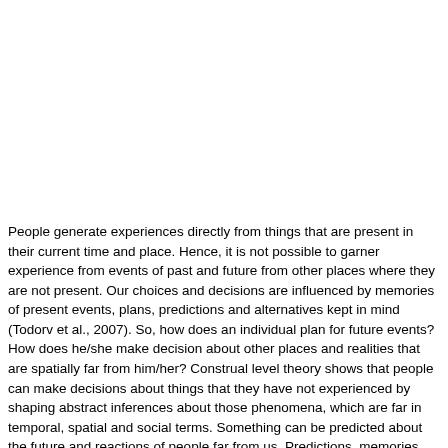People generate experiences directly from things that are present in their current time and place. Hence, it is not possible to garner experience from events of past and future from other places where they are not present. Our choices and decisions are influenced by memories of present events, plans, predictions and alternatives kept in mind (Todorv et al., 2007). So, how does an individual plan for future events? How does he/she make decision about other places and realities that are spatially far from him/her? Construal level theory shows that people can make decisions about things that they have not experienced by shaping abstract inferences about those phenomena, which are far in temporal, spatial and social terms. Something can be predicted about the future and reactions of people far from us. Predictions, memories and thoughts are mental constructs and are separate from direct experiences of people (Trope & Liberman, 2003). They help us represent distance of those phenomena psychologically. Indeed psychic distance is a mental experience that can be observed from a distinction of time and place (Trope & Lib...